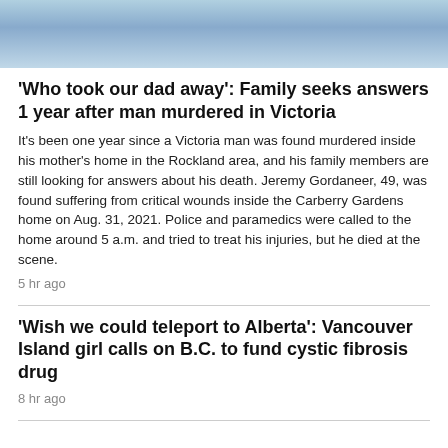[Figure (photo): Partial photo showing two people, one wearing a light blue top, with a red object visible, cropped at the top of the page]
'Who took our dad away': Family seeks answers 1 year after man murdered in Victoria
It's been one year since a Victoria man was found murdered inside his mother's home in the Rockland area, and his family members are still looking for answers about his death. Jeremy Gordaneer, 49, was found suffering from critical wounds inside the Carberry Gardens home on Aug. 31, 2021. Police and paramedics were called to the home around 5 a.m. and tried to treat his injuries, but he died at the scene.
5 hr ago
'Wish we could teleport to Alberta': Vancouver Island girl calls on B.C. to fund cystic fibrosis drug
8 hr ago